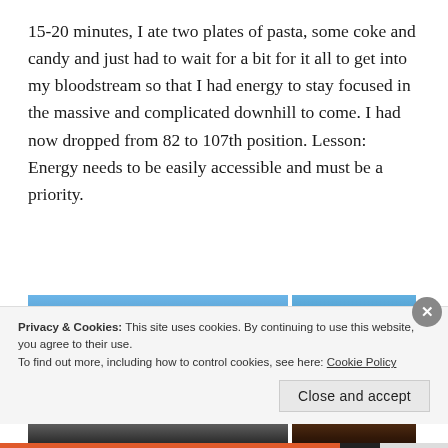15-20 minutes, I ate two plates of pasta, some coke and candy and just had to wait for a bit for it all to get into my bloodstream so that I had energy to stay focused in the massive and complicated downhill to come. I had now dropped from 82 to 107th position. Lesson: Energy needs to be easily accessible and must be a priority.
[Figure (photo): Two side-by-side outdoor photos. Left: mountain landscape with rocky peaks above a sea of clouds under blue sky. Right: trail runner on a reddish-brown mountain path with rocky peaks in background.]
Privacy & Cookies: This site uses cookies. By continuing to use this website, you agree to their use.
To find out more, including how to control cookies, see here: Cookie Policy